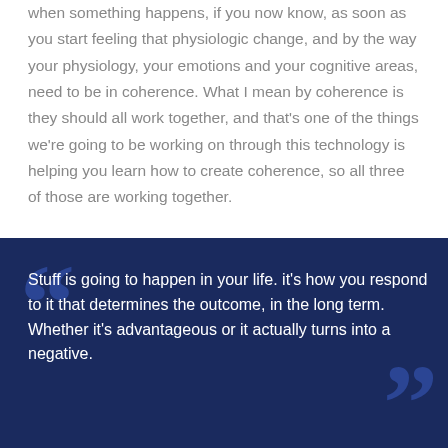when something happens, if you now know, as soon as you start feeling that physiologic change, and by the way your physiology, your emotions and your cognitive areas, need to be in coherence. What I mean by coherence is they should all work together, and that's one of the things we're going to be working on through this technology is helping you learn how to create coherence, so all three of those are working together.
[Figure (infographic): Dark navy blue quote block with large decorative quotation marks and white text: 'Stuff is going to happen in your life. it's how you respond to it that determines the outcome, in the long term. Whether it's advantageous or it actually turns into a negative.']